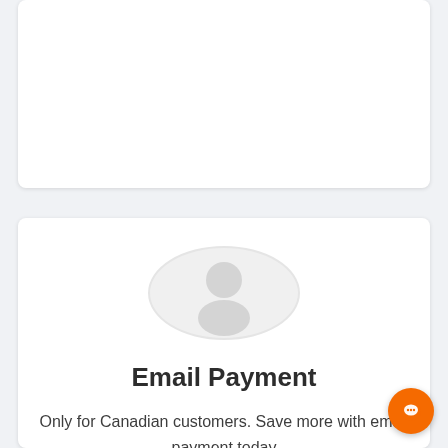[Figure (illustration): Top white card area (partially visible, content cropped)]
[Figure (illustration): Generic user/person placeholder avatar icon inside a light gray circle]
Email Payment
Only for Canadian customers. Save more with email payment today